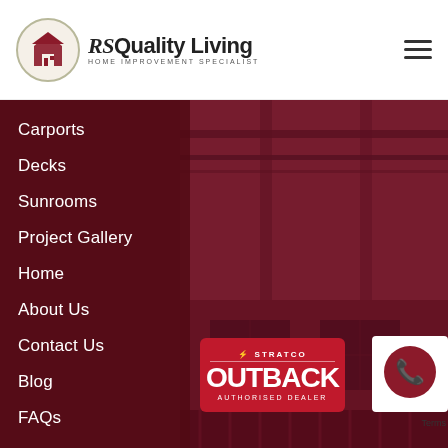[Figure (logo): RS Quality Living logo — circular badge with house icon, text 'RS Quality Living' and subtitle 'HOME IMPROVEMENT SPECIALIST']
Carports
Decks
Sunrooms
Project Gallery
Home
About Us
Contact Us
Blog
FAQs
[Figure (logo): Stratco Outback Authorised Dealer badge — red badge with STRATCO OUTBACK logo and 'AUTHORISED DEALER' text]
[Figure (illustration): Phone/call button icon — circular dark red icon with phone handset symbol]